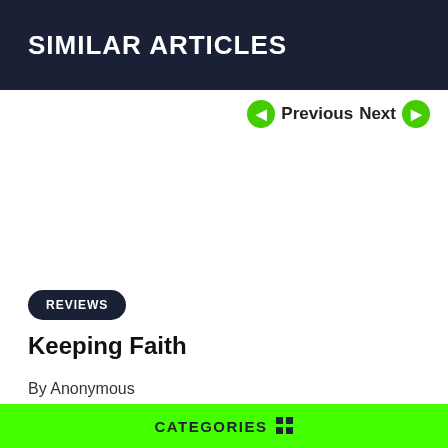SIMILAR ARTICLES
Previous Next
REVIEWS
Keeping Faith
By Anonymous
CATEGORIES